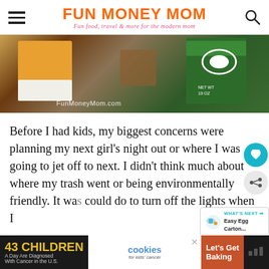FUN MONEY MOM — Fun food, travel & more for the modern mom
[Figure (photo): Photo of product boxes (orange, green) and a jar on a dark table, watermarked 'FunMoneyMom.com']
Before I had kids, my biggest concerns were planning my next girl's night out or where I was going to jet off to next. I didn't think much about where my trash went or being environmentally friendly. It was could do to turn off the lights when I
[Figure (infographic): What's Next promo: 'Easy Egg Carton...' with icon]
[Figure (infographic): Advertisement bar: '43 CHILDREN A Day Are Diagnosed With Cancer in the U.S.' / cookies for kids' cancer / Let's Get Baking]